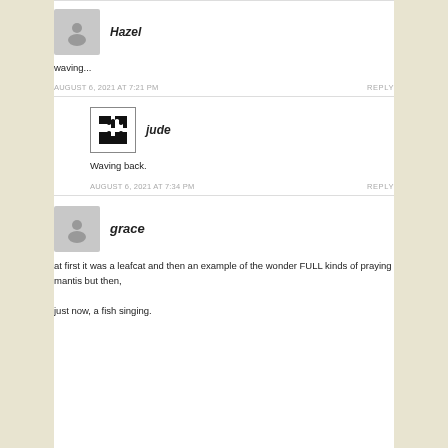Hazel
waving...
AUGUST 6, 2021 AT 7:21 PM
REPLY
jude
Waving back.
AUGUST 6, 2021 AT 7:34 PM
REPLY
grace
at first it was a leafcat and then an example of the wonder FULL kinds of praying mantis but then,
just now, a fish singing.